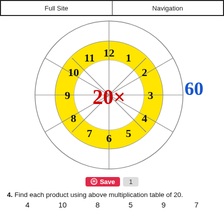Full Site | Navigation
[Figure (other): Multiplication wheel diagram showing 20x in the center (red), numbers 1-12 in yellow inner ring, outer white ring for answers. The number 60 appears in blue to the right (20x3=60 highlighted).]
Save 1
4. Find each product using above multiplication table of 20.
4   10   8   5   9   7